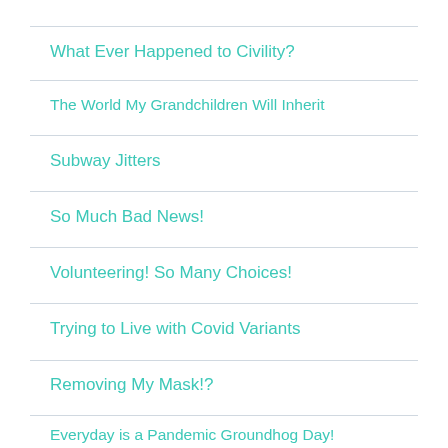What Ever Happened to Civility?
The World My Grandchildren Will Inherit
Subway Jitters
So Much Bad News!
Volunteering! So Many Choices!
Trying to Live with Covid Variants
Removing My Mask!?
Everyday is a Pandemic Groundhog Day!